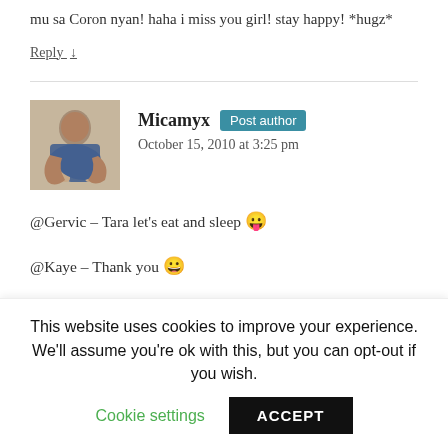mu sa Coron nyan! haha i miss you girl! stay happy! *hugz*
Reply ↓
Micamyx  Post author
October 15, 2010 at 3:25 pm
@Gervic – Tara let's eat and sleep 😛
@Kaye – Thank you 😀
@Ada – I'll take you there if i win hahaha 😛
This website uses cookies to improve your experience. We'll assume you're ok with this, but you can opt-out if you wish. Cookie settings  ACCEPT